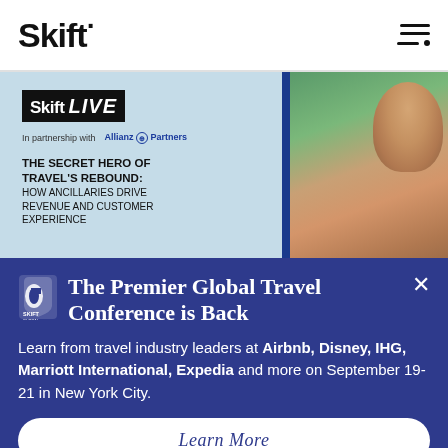Skift
[Figure (infographic): Skift LIVE banner ad in partnership with Allianz Partners. Headline: THE SECRET HERO OF TRAVEL'S REBOUND: HOW ANCILLARIES DRIVE REVENUE AND CUSTOMER EXPERIENCE. Shows couple photo on right side.]
The Premier Global Travel Conference is Back
Learn from travel industry leaders at Airbnb, Disney, IHG, Marriott International, Expedia and more on September 19-21 in New York City.
Learn More